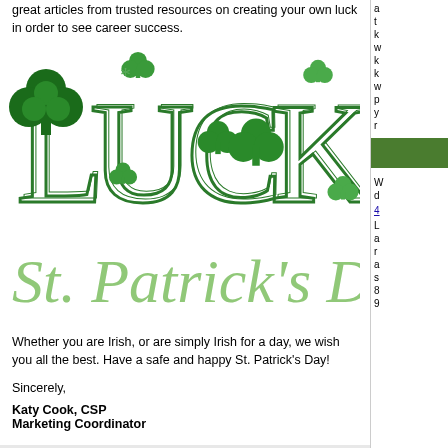great articles from trusted resources on creating your own luck in order to see career success.
[Figure (illustration): Decorative 'LUCK' text in green outlined letters with shamrock/four-leaf clover decorations, followed by 'St. Patrick's Day' in light green script below]
Whether you are Irish, or are simply Irish for a day, we wish you all the best. Have a safe and happy St. Patrick's Day!
Sincerely,
Katy Cook, CSP
Marketing Coordinator
What's NEW at RealStreet!?!
RealStreet opened a new branch office in Norfolk, VA on January 29, 2016! The expansion into Norfolk was done to better serve our clients'